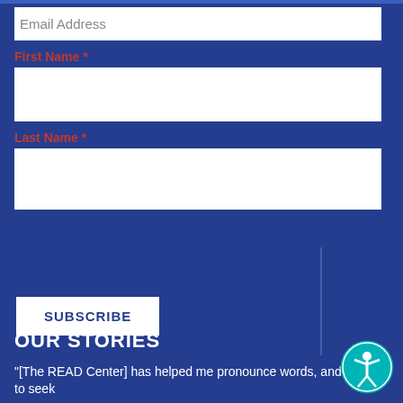Email Address
First Name *
Last Name *
SUBSCRIBE
OUR STORIES
"[The READ Center] has helped me pronounce words, and to seek